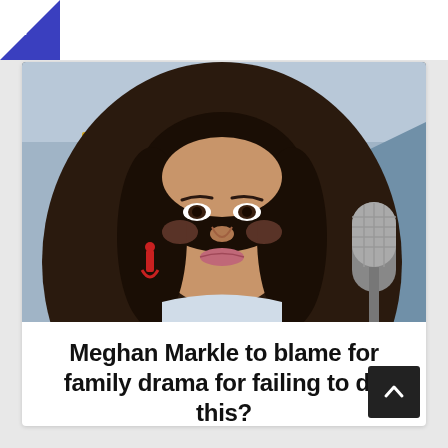☰
[Figure (photo): Close-up photo of a woman with long dark hair wearing red tassel earrings, in front of a microphone, at an outdoor event with a yellow star banner in background]
Meghan Markle to blame for family drama for failing to do this?
👁 98